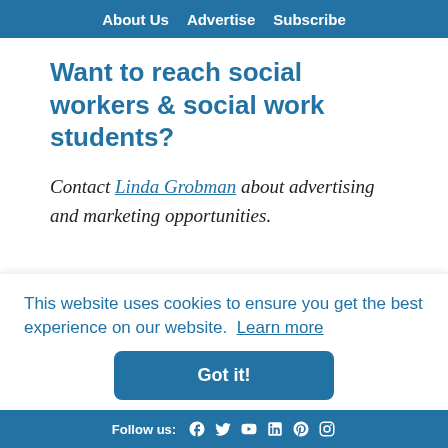About Us  Advertise  Subscribe
Want to reach social workers & social work students?
Contact Linda Grobman about advertising and marketing opportunities.
This website uses cookies to ensure you get the best experience on our website.  Learn more
Got it!
Follow us: